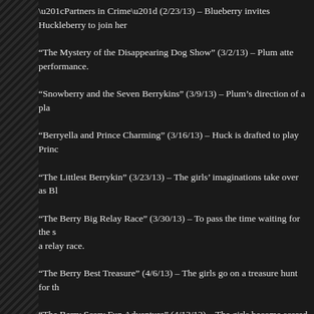“Partners in Crime” (2/23/13) – Blueberry invites Huckleberry to join her
“The Mystery of the Disappearing Dog Show” (3/2/13) – Plum atte performance.
“Snowberry and the Seven Berrykins” (3/9/13) – Plum’s direction of a pla
“Berryella and Prince Charming” (3/16/13) – Huck is drafted to play Princ
“The Littlest Berrykin” (3/23/13) – The girls’ imaginations take over as Bl
“The Berry Big Relay Race” (3/30/13) – To pass the time waiting for the s a relay race.
“The Berry Best Treasure” (4/6/13) – The girls go on a treasure hunt for th
“The Berry Scary Fun Adventure” (4/13/13) – The girls become scared o of traps.
“The Berry Lucky Day” (4/20/13) – Huck finds Cherry’s good luck char comes from.
“All Dogs Allowed” (4/27/13) – The girls try to figure out what’s scaring t